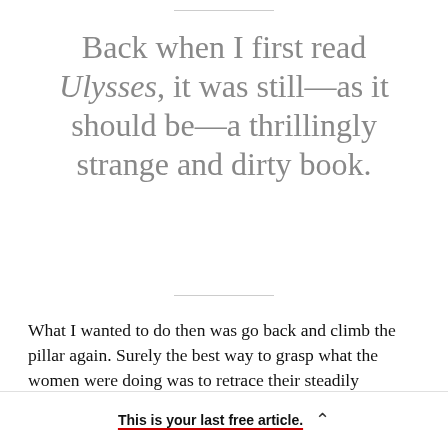Back when I first read Ulysses, it was still—as it should be—a thrillingly strange and dirty book.
What I wanted to do then was go back and climb the pillar again. Surely the best way to grasp what the women were doing was to retrace their steadily mounting steps. This was the exact privilege of
This is your last free article.